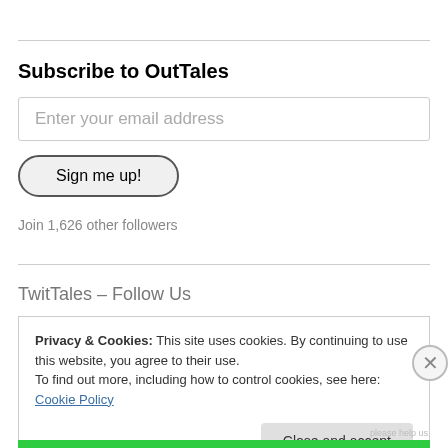Subscribe to OutTales
Enter your email address
Sign me up!
Join 1,626 other followers
TwitTales – Follow Us
Privacy & Cookies: This site uses cookies. By continuing to use this website, you agree to their use.
To find out more, including how to control cookies, see here: Cookie Policy
Close and accept